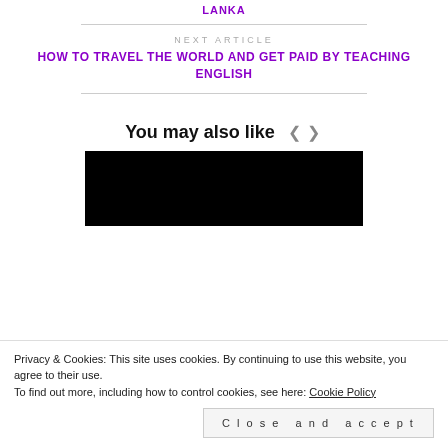LANKA
NEXT ARTICLE
HOW TO TRAVEL THE WORLD AND GET PAID BY TEACHING ENGLISH
You may also like
[Figure (photo): Black image placeholder for a related article thumbnail]
Privacy & Cookies: This site uses cookies. By continuing to use this website, you agree to their use.
To find out more, including how to control cookies, see here: Cookie Policy
Close and accept